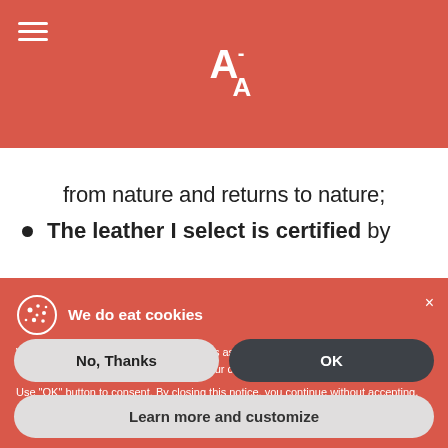A-A logo with hamburger menu
from nature and returns to nature;
The leather I select is certified by
We do eat cookies
We and selected third parties use cookies as specified in the cookie policy.
You can freely give, deny, or withdraw your consent at any time.
Use "OK" button to consent. By closing this notice, you continue without accepting.
No, Thanks
OK
Learn more and customize